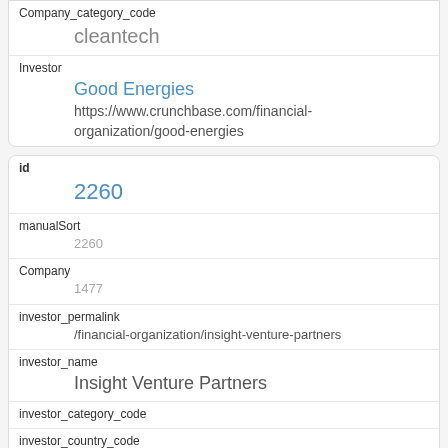| company_category_code | cleantech |
| Investor | Good Energies
https://www.crunchbase.com/financial-organization/good-energies |
| id | 2260 |
| manualSort | 2260 |
| Company | 1477 |
| investor_permalink | /financial-organization/insight-venture-partners |
| investor_name | Insight Venture Partners |
| investor_category_code |  |
| investor_country_code | USA |